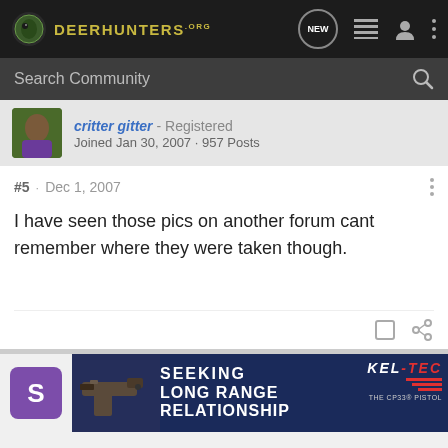DeerHunters.org
Search Community
critter gitter · Registered
Joined Jan 30, 2007 · 957 Posts
#5 · Dec 1, 2007
I have seen those pics on another forum cant remember where they were taken though.
[Figure (screenshot): Advertisement banner: Kel-Tec CP33 Pistol — SEEKING LONG RANGE RELATIONSHIP]
S